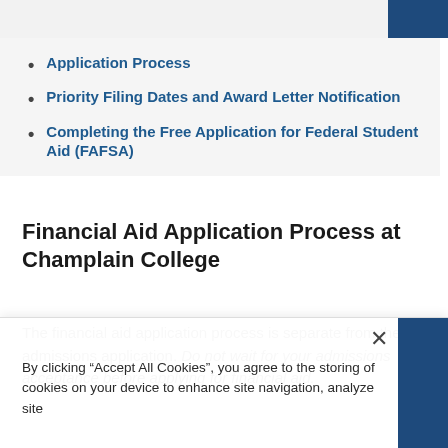Application Process
Priority Filing Dates and Award Letter Notification
Completing the Free Application for Federal Student Aid (FAFSA)
Financial Aid Application Process at Champlain College
The financial aid application process is separate from the admissions application. Do not wait for your admissions acceptance before applying for financial aid.
By clicking “Accept All Cookies”, you agree to the storing of cookies on your device to enhance site navigation, analyze site